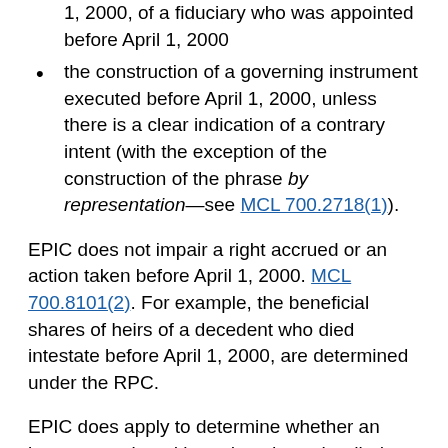1, 2000, of a fiduciary who was appointed before April 1, 2000
the construction of a governing instrument executed before April 1, 2000, unless there is a clear indication of a contrary intent (with the exception of the construction of the phrase by representation—see MCL 700.2718(1)).
EPIC does not impair a right accrued or an action taken before April 1, 2000. MCL 700.8101(2). For example, the beneficial shares of heirs of a decedent who died intestate before April 1, 2000, are determined under the RPC.
EPIC does apply to determine whether an instrument signed by a decedent who died before April 1, 2000, is a testamentary instrument. Korean New Hope Assembly of God v Haight (In re Estate of Smith), 252